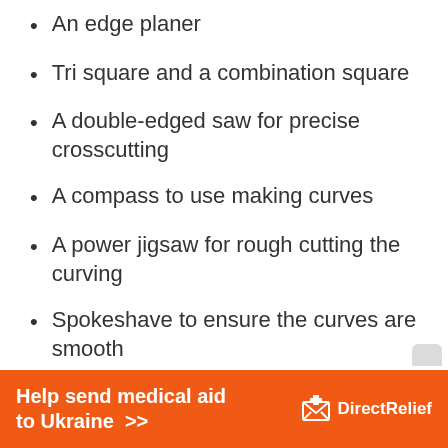An edge planer
Tri square and a combination square
A double-edged saw for precise crosscutting
A compass to use making curves
A power jigsaw for rough cutting the curving
Spokeshave to ensure the curves are smooth
Two chisels
Wood Clamps
Power drill
[Figure (infographic): Orange advertisement banner: 'Help send medical aid to Ukraine >>' with DirectRelief logo]